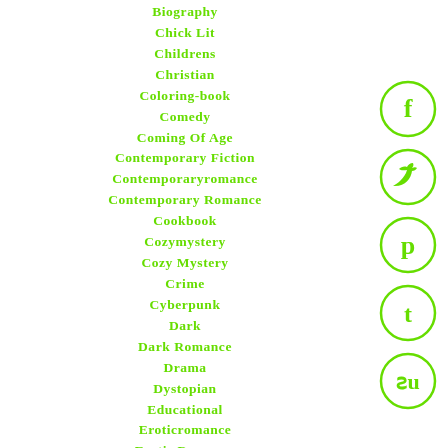Biography
Chick Lit
Childrens
Christian
Coloring-book
Comedy
Coming Of Age
Contemporary Fiction
Contemporaryromance
Contemporary Romance
Cookbook
Cozymystery
Cozy Mystery
Crime
Cyberpunk
Dark
Dark Romance
Drama
Dystopian
Educational
Eroticromance
Erotic Romance
Fairytale
[Figure (illustration): Social media icons: Facebook, Twitter, Pinterest, Tumblr, StumbleUpon — green circle outlines with white symbols]